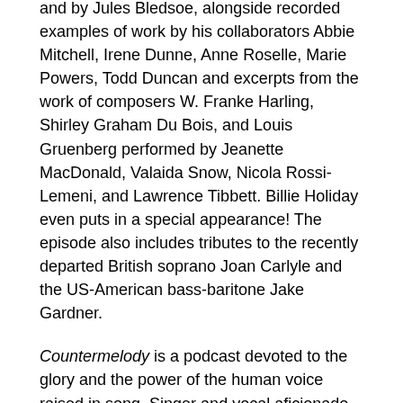and by Jules Bledsoe, alongside recorded examples of work by his collaborators Abbie Mitchell, Irene Dunne, Anne Roselle, Marie Powers, Todd Duncan and excerpts from the work of composers W. Franke Harling, Shirley Graham Du Bois, and Louis Gruenberg performed by Jeanette MacDonald, Valaida Snow, Nicola Rossi-Lemeni, and Lawrence Tibbett. Billie Holiday even puts in a special appearance! The episode also includes tributes to the recently departed British soprano Joan Carlyle and the US-American bass-baritone Jake Gardner.
Countermelody is a podcast devoted to the glory and the power of the human voice raised in song. Singer and vocal aficionado Daniel Gundlach explores great singers of the past and present focusing in particular on those who are less well-remembered today than they should be. Daniel's lifetime in music as a professional countertenor